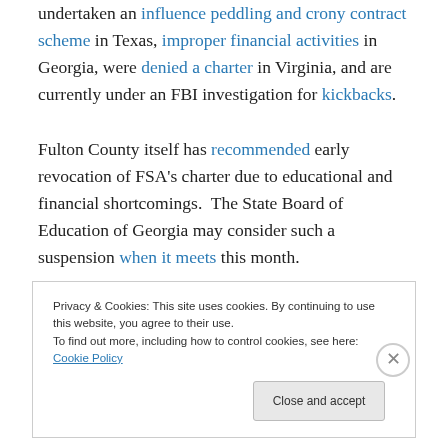undertaken an influence peddling and crony contract scheme in Texas, improper financial activities in Georgia, were denied a charter in Virginia, and are currently under an FBI investigation for kickbacks. Fulton County itself has recommended early revocation of FSA's charter due to educational and financial shortcomings.  The State Board of Education of Georgia may consider such a suspension when it meets this month.
Privacy & Cookies: This site uses cookies. By continuing to use this website, you agree to their use. To find out more, including how to control cookies, see here: Cookie Policy